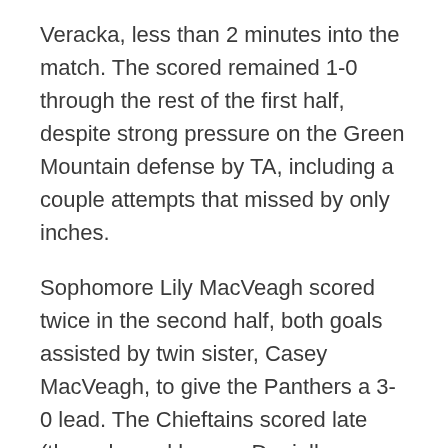Veracka, less than 2 minutes into the match. The scored remained 1-0 through the rest of the first half, despite strong pressure on the Green Mountain defense by TA, including a couple attempts that missed by only inches.
Sophomore Lily MacVeagh scored twice in the second half, both goals assisted by twin sister, Casey MacVeagh, to give the Panthers a 3-0 lead. The Chieftains scored late (the only goal keeper Danielle Robinson gave up throughout the playoffs), but it wasn't enough as the Panthers locked down on defense for the remainder of the game to secure the title.
The Panthers finished the season 16-2, losing only to U-32 and Montpelier, both top 5 Division II schools. Throughout the playoffs, Thetford